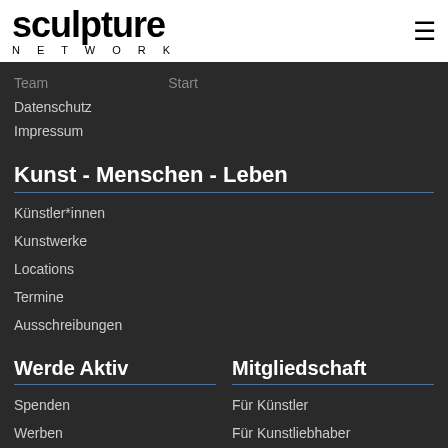sculpture NETWORK
Team
Start
Datenschutz
Impressum
Kunst - Menschen - Leben
Künstler*innen
Kunstwerke
Locations
Termine
Ausschreibungen
Werde Aktiv
Mitgliedschaft
Spenden
Für Künstler
Werben
Für Kunstliebhaber
Redaktionsarbeit
Für Organisationen